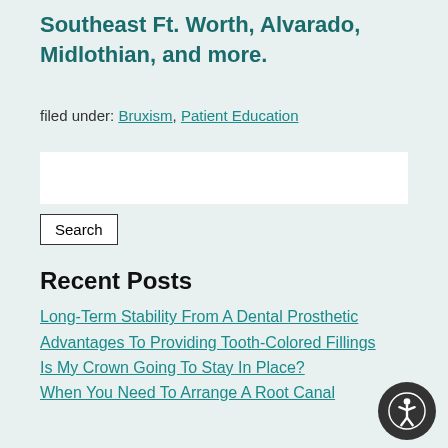Southeast Ft. Worth, Alvarado, Midlothian, and more.
filed under: Bruxism, Patient Education
Search
Recent Posts
Long-Term Stability From A Dental Prosthetic
Advantages To Providing Tooth-Colored Fillings
Is My Crown Going To Stay In Place?
When You Need To Arrange A Root Canal